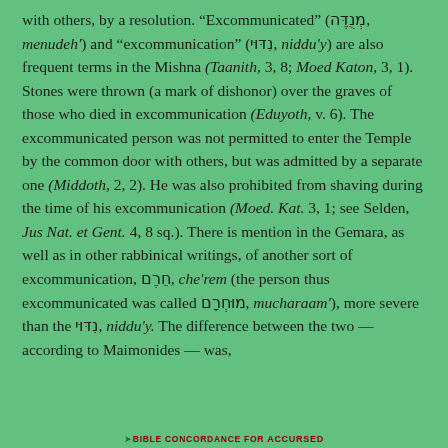with others, by a resolution. "Excommunicated" (מְנֻדֶּה, menudeh') and "excommunication" (נִדּוּי, niddu'y) are also frequent terms in the Mishna (Taanith, 3, 8; Moed Katon, 3, 1). Stones were thrown (a mark of dishonor) over the graves of those who died in excommunication (Eduyoth, v. 6). The excommunicated person was not permitted to enter the Temple by the common door with others, but was admitted by a separate one (Middoth, 2, 2). He was also prohibited from shaving during the time of his excommunication (Moed. Kat. 3, 1; see Selden, Jus Nat. et Gent. 4, 8 sq.). There is mention in the Gemara, as well as in other rabbinical writings, of another sort of excommunication, חֵרֶם, che'rem (the person thus excommunicated was called מוּחְרָם, mucharaam'), more severe than the נִדּוּי, niddu'y. The difference between the two — according to Maimonides — was,
➤Bible concordance for ACCURSED